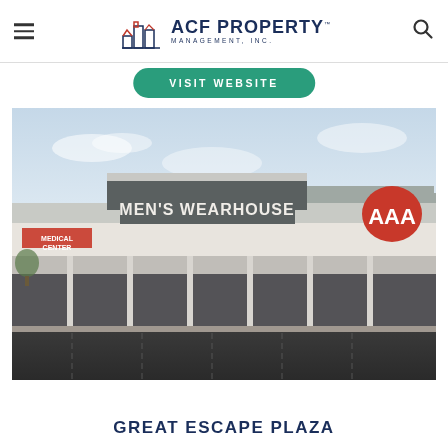ACF PROPERTY MANAGEMENT, INC.
VISIT WEBSITE
[Figure (photo): Exterior photo of a retail strip mall showing Men's Wearhouse and AAA storefronts with a parking lot in the foreground, taken at dusk/dawn.]
GREAT ESCAPE PLAZA